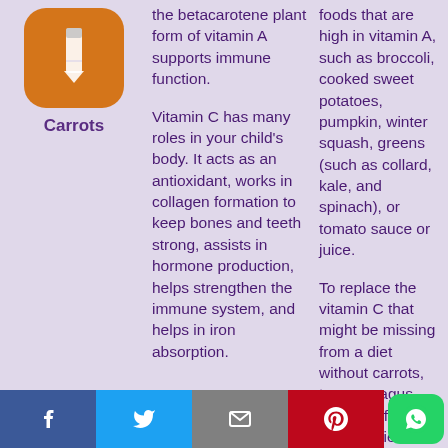[Figure (illustration): Orange rounded square icon with a pencil/carrot graphic on it]
Carrots
the betacarotene plant form of vitamin A supports immune function.
Vitamin C has many roles in your child's body. It acts as an antioxidant, works in collagen formation to keep bones and teeth strong, assists in hormone production, helps strengthen the immune system, and helps in iron absorption.
foods that are high in vitamin A, such as broccoli, cooked sweet potatoes, pumpkin, winter squash, greens (such as collard, kale, and spinach), or tomato sauce or juice.
To replace the vitamin C that might be missing from a diet without carrots, try asparagus, oranges, fresh strawberries, raw red bell p... o sau...